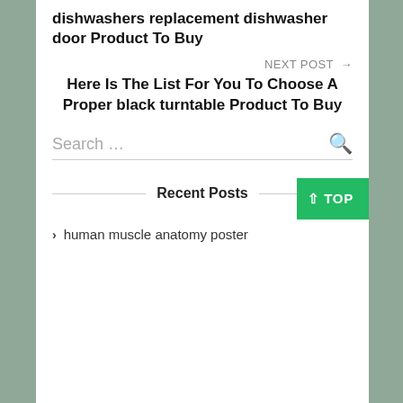dishwashers replacement dishwasher door Product To Buy
NEXT POST →
Here Is The List For You To Choose A Proper black turntable Product To Buy
Search …
↑ TOP
Recent Posts
human muscle anatomy poster